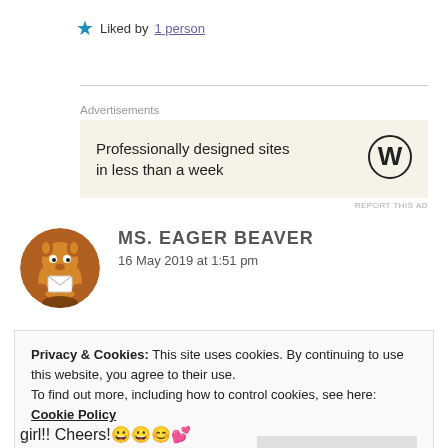★ Liked by 1 person
Advertisements
[Figure (infographic): WordPress advertisement: 'Professionally designed sites in less than a week' with WordPress logo on beige background]
REPORT THIS AD
MS. EAGER BEAVER
16 May 2019 at 1:51 pm
Privacy & Cookies: This site uses cookies. By continuing to use this website, you agree to their use.
To find out more, including how to control cookies, see here: Cookie Policy
Close and accept
girl!! Cheers!😀😀😊💕